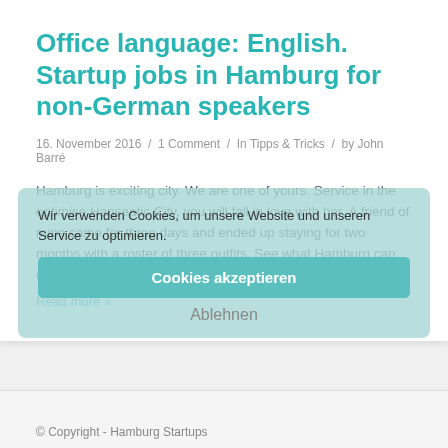Office language: English. Startup jobs in Hamburg for non-German speakers
16. November 2016 / 1 Comment / In Tipps & Tricks / by John Barré
Hamburg is exciting city. We are one of yours. Service to the optimise Hanseatic City, you will fall in love with her. A friend of mine came for three days and ended up staying for two months with a roster of three outfits. See what Hamburg can do to you?
Read more »
Wir verwenden Cookies, um unsere Website und unseren Service zu optimieren.
Cookies akzeptieren
Ablehnen
© Copyright - Hamburg Startups